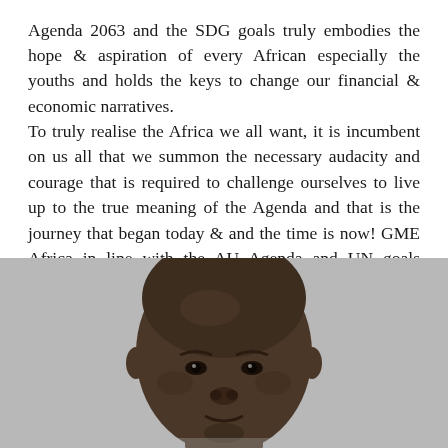Agenda 2063 and the SDG goals truly embodies the hope & aspiration of every African especially the youths and holds the keys to change our financial & economic narratives. To truly realise the Africa we all want, it is incumbent on us all that we summon the necessary audacity and courage that is required to challenge ourselves to live up to the true meaning of the Agenda and that is the journey that began today & and the time is now! GME Africa in line with the AU Agenda and UN goals therefore calls on the African Union and UN today to devise and explore innovative, sustainable and alternative model to finding practical solution to the problem we all face today.
[Figure (photo): Black and white portrait photo of a bald African man, face visible from forehead to chin, looking slightly upward, against a grey background.]